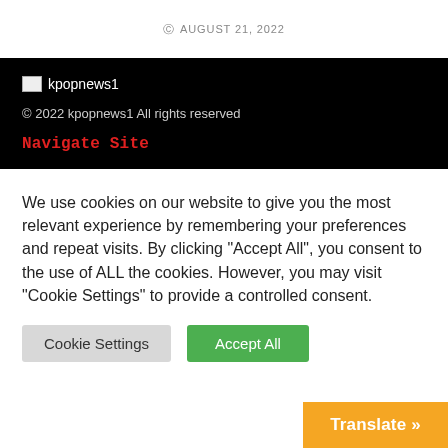© AUGUST 21, 2022
[Figure (logo): kpopnews1 logo placeholder image with text 'kpopnews1' on black background]
© 2022 kpopnews1 All rights reserved
Navigate Site
We use cookies on our website to give you the most relevant experience by remembering your preferences and repeat visits. By clicking "Accept All", you consent to the use of ALL the cookies. However, you may visit "Cookie Settings" to provide a controlled consent.
Cookie Settings | Accept All
Translate »